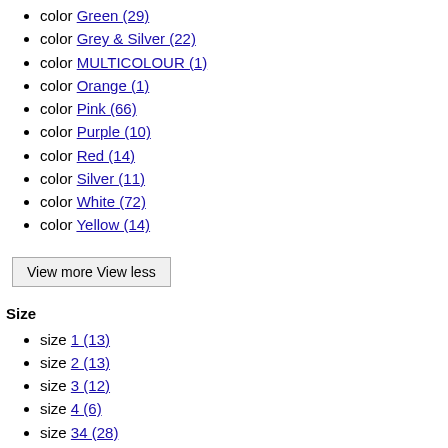color Green (29)
color Grey & Silver (22)
color MULTICOLOUR (1)
color Orange (1)
color Pink (66)
color Purple (10)
color Red (14)
color Silver (11)
color White (72)
color Yellow (14)
View more View less
Size
size 1 (13)
size 2 (13)
size 3 (12)
size 4 (6)
size 34 (28)
size 35 (40)
size 35.5 (2)
size 36 (46)
size 36.5 (3)
size 37 (42)